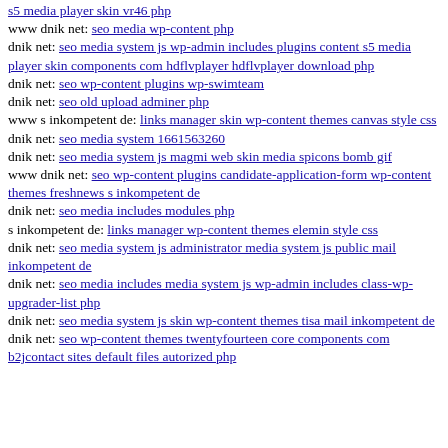s5 media player skin vr46 php
www dnik net: seo media wp-content php
dnik net: seo media system js wp-admin includes plugins content s5 media player skin components com hdflvplayer hdflvplayer download php
dnik net: seo wp-content plugins wp-swimteam
dnik net: seo old upload adminer php
www s inkompetent de: links manager skin wp-content themes canvas style css
dnik net: seo media system 1661563260
dnik net: seo media system js magmi web skin media spicons bomb gif
www dnik net: seo wp-content plugins candidate-application-form wp-content themes freshnews s inkompetent de
dnik net: seo media includes modules php
s inkompetent de: links manager wp-content themes elemin style css
dnik net: seo media system js administrator media system js public mail inkompetent de
dnik net: seo media includes media system js wp-admin includes class-wp-upgrader-list php
dnik net: seo media system js skin wp-content themes tisa mail inkompetent de
dnik net: seo wp-content themes twentyfourteen core components com b2jcontact sites default files autorized php